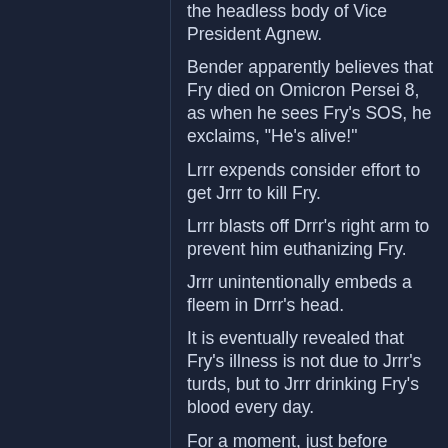the headless body of Vice President Agnew.
Bender apparently believes that Fry died on Omicron Persei 8, as when he sees Fry's SOS, he exclaims, "He's alive!"
Lrrr expends consider effort to get Jrrr to kill Fry.
Lrrr blasts off Drrr's right arm to prevent him euthanizing Fry.
Jrrr unintentionally embeds a fleem in Drrr's head.
It is eventually revealed that Fry's illness is not due to Jrrr's turds, but to Jrrr drinking Fry's blood every day.
For a moment, just before Bender arrives to recover Fry from Omicron Persei 8, everyone believes that Fry is dead.
"Calculon 2.0" (7ACV29)